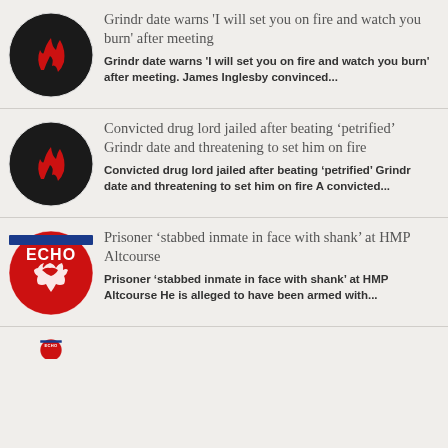Grindr date warns 'I will set you on fire and watch you burn' after meeting
Grindr date warns 'I will set you on fire and watch you burn' after meeting. James Inglesby convinced...
Convicted drug lord jailed after beating 'petrified' Grindr date and threatening to set him on fire
Convicted drug lord jailed after beating 'petrified' Grindr date and threatening to set him on fire A convicted...
Prisoner 'stabbed inmate in face with shank' at HMP Altcourse
Prisoner 'stabbed inmate in face with shank' at HMP Altcourse He is alleged to have been armed with...